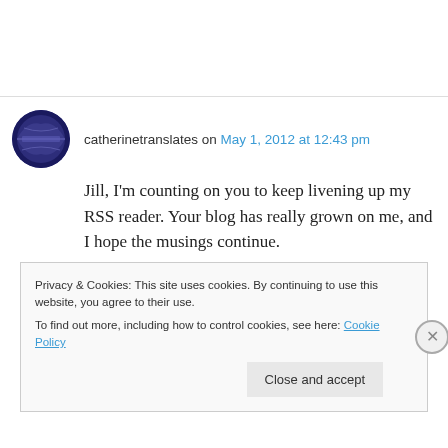catherinetranslates on May 1, 2012 at 12:43 pm
Jill, I'm counting on you to keep livening up my RSS reader. Your blog has really grown on me, and I hope the musings continue.
I liked Steve's comment about websites. May I make two suggestions? What about adding
Privacy & Cookies: This site uses cookies. By continuing to use this website, you agree to their use.
To find out more, including how to control cookies, see here: Cookie Policy
Close and accept